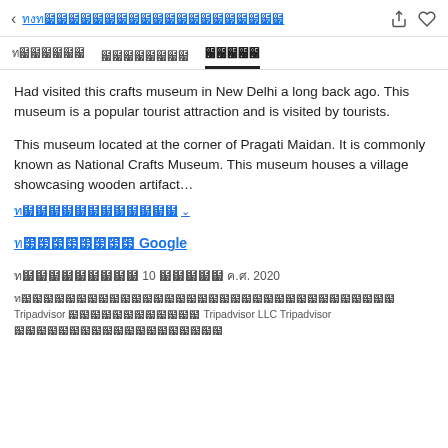< [Thai text - navigation link] [share icon] [heart icon]
[Tab: Thai text 1]  [Tab: Thai text 2]  [Tab: Thai text 3 - active]
Had visited this crafts museum in New Delhi a long back ago. This museum is a popular tourist attraction and is visited by tourists.
This museum located at the corner of Pragati Maidan. It is commonly known as National Crafts Museum. This museum houses a village showcasing wooden artifact…
[Thai text - see more] ∨
[Thai text] Google
[Thai text] 10 [Thai text] ค.ศ. 2020
[Thai legal text] Tripadvisor [Thai text] Tripadvisor LLC Tripadvisor [Thai text]